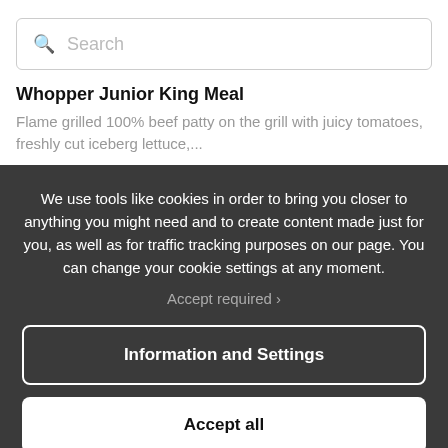[Figure (screenshot): Search input box with magnifying glass icon and placeholder text 'Search']
Whopper Junior King Meal
Flame grilled 100% beef patty on the grill with juicy tomatoes, freshly cut iceberg lettuce,...
We use tools like cookies in order to bring you closer to anything you might need and to create content made just for you, as well as for traffic tracking purposes on our page. You can change your cookie settings at any moment.
Accept required ›
Information and Settings
Accept all